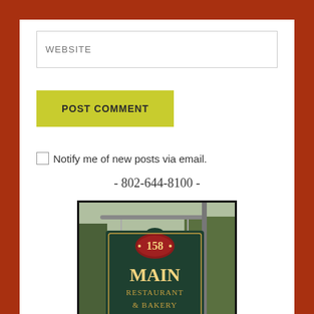WEBSITE
POST COMMENT
Notify me of new posts via email.
- 802-644-8100 -
[Figure (photo): Hanging sign for 158 Main Restaurant & Bakery on a green background with gold lettering]